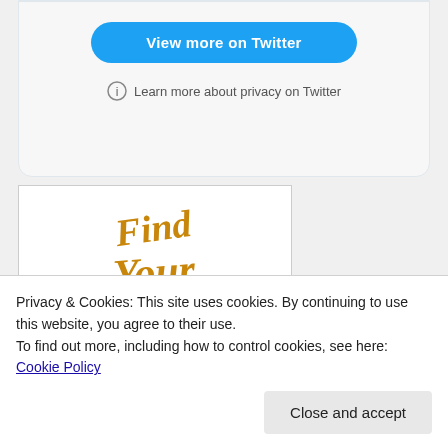[Figure (screenshot): Twitter embedded widget with 'View more on Twitter' blue button and privacy link]
[Figure (photo): Book cover: 'Find Your Why' with gold script lettering on white background]
Privacy & Cookies: This site uses cookies. By continuing to use this website, you agree to their use.
To find out more, including how to control cookies, see here: Cookie Policy
Close and accept